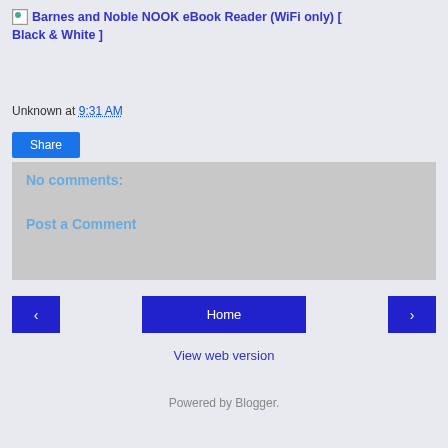[Figure (other): Broken image placeholder for Barnes and Noble NOOK eBook Reader (WiFi only) [ Black & White ] link]
Barnes and Noble NOOK eBook Reader (WiFi only) [ Black & White ]
Unknown at 9:31 AM
Share
No comments:
Post a Comment
‹  Home  ›
View web version
Powered by Blogger.